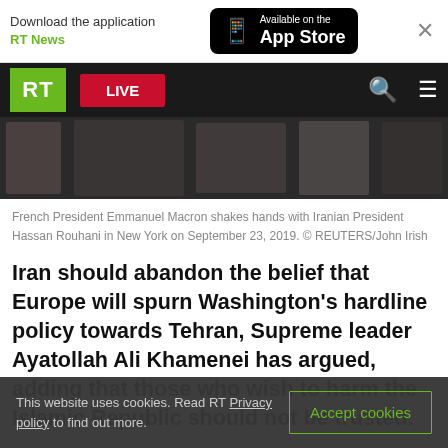[Figure (screenshot): App download banner with RT News logo, App Store button, and close X button]
[Figure (photo): RT navigation bar with green RT logo, red LIVE button, search and menu icons]
[Figure (photo): Photo strip showing French President Emmanuel Macron shaking hands with Iranian President Hassan Rouhani]
French President Emmanuel Macron shakes hands with Iranian President Hassan Rouhani in New York on September 23, 2019. © REUTERS/John Irish
Iran should abandon the belief that Europe will spurn Washington's hardline policy towards Tehran, Supreme leader Ayatollah Ali Khamenei has argued, adding that those who wish to harm the Islamic Republic should not be trusted.
This website uses cookies. Read RT Privacy policy to find out more.